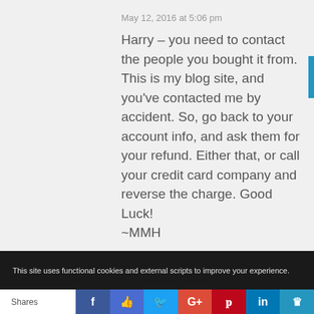May 12, 2016 at 5:06 pm
Harry – you need to contact the people you bought it from. This is my blog site, and you've contacted me by accident. So, go back to your account info, and ask them for your refund. Either that, or call your credit card company and reverse the charge. Good Luck!
~MMH
Reply
This site uses functional cookies and external scripts to improve your experience.
Shares